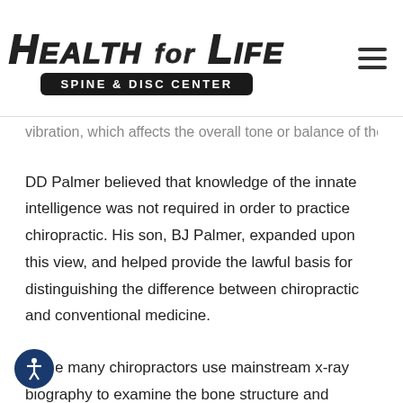Health for Life Spine & Disc Center
vibration, which affects the overall tone or balance of the person.
DD Palmer believed that knowledge of the innate intelligence was not required in order to practice chiropractic. His son, BJ Palmer, expanded upon this view, and helped provide the lawful basis for distinguishing the difference between chiropractic and conventional medicine.
While many chiropractors use mainstream x-ray biography to examine the bone structure and